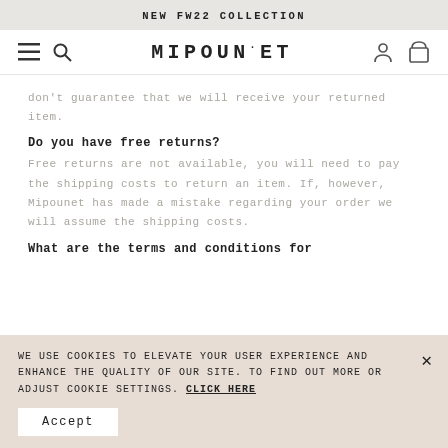NEW FW22 COLLECTION
[Figure (screenshot): Mipounet website navigation bar with hamburger menu, search icon, brand logo MIPOUNET, user account icon, and shopping bag icon]
don't guarantee that we will receive your returned item.
Do you have free returns?
Free returns are not available, you will need to pay the shipping costs to return an item. If, however, Mipounet has made a mistake regarding your order we will assume the shipping costs.
What are the terms and conditions for
WE USE COOKIES TO ELEVATE YOUR USER EXPERIENCE AND ENHANCE THE QUALITY OF OUR SITE. TO FIND OUT MORE OR ADJUST COOKIE SETTINGS. CLICK HERE
Accept